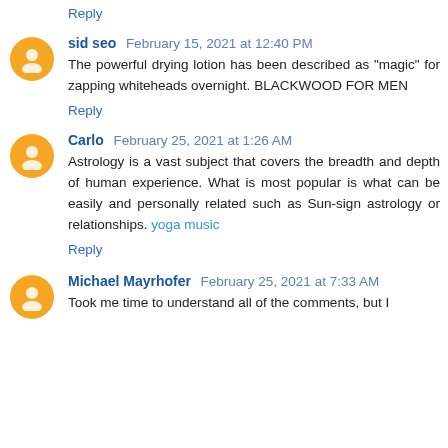Reply
sid seo  February 15, 2021 at 12:40 PM
The powerful drying lotion has been described as "magic" for zapping whiteheads overnight. BLACKWOOD FOR MEN
Reply
Carlo  February 25, 2021 at 1:26 AM
Astrology is a vast subject that covers the breadth and depth of human experience. What is most popular is what can be easily and personally related such as Sun-sign astrology or relationships. yoga music
Reply
Michael Mayrhofer  February 25, 2021 at 7:33 AM
Took me time to understand all of the comments, but I